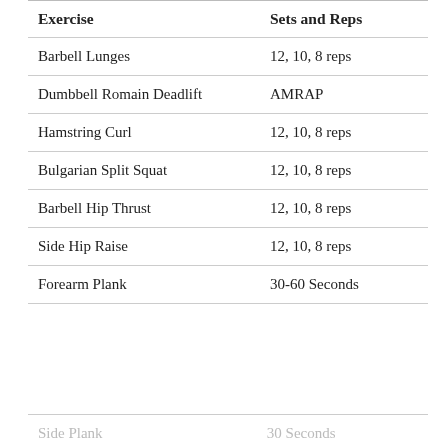| Exercise | Sets and Reps |
| --- | --- |
| Barbell Lunges | 12, 10, 8 reps |
| Dumbbell Romain Deadlift | AMRAP |
| Hamstring Curl | 12, 10, 8 reps |
| Bulgarian Split Squat | 12, 10, 8 reps |
| Barbell Hip Thrust | 12, 10, 8 reps |
| Side Hip Raise | 12, 10, 8 reps |
| Forearm Plank | 30-60 Seconds |
| Side Plank | 30 Seconds |